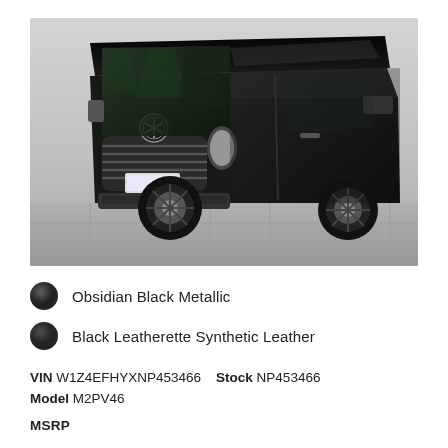[Figure (photo): Mercedes-Benz Sprinter van in Obsidian Black Metallic color, front three-quarter view, parked on a tiled concrete surface with trees reflected in the glossy black finish. Gray background in studio-style setting.]
Obsidian Black Metallic
Black Leatherette Synthetic Leather
VIN W1Z4EFHYXNP453466   Stock NP453466
Model M2PV46
MSRP